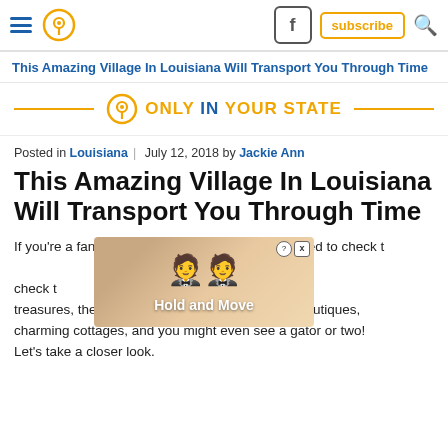This Amazing Village In Louisiana Will Transport You Through Time
[Figure (logo): Only In Your State brand logo with pin icon and orange/blue text]
Posted in Louisiana | July 12, 2018 by Jackie Ann
This Amazing Village In Louisiana Will Transport You Through Time
If you're a fan of antiques, then you absolutely need to check t[...] treasures, there's also delicious food, galleries, boutiques, charming cottages, and you might even see a gator or two! Let's take a closer look.
[Figure (screenshot): Hold and Move advertisement overlay with cartoon figures]